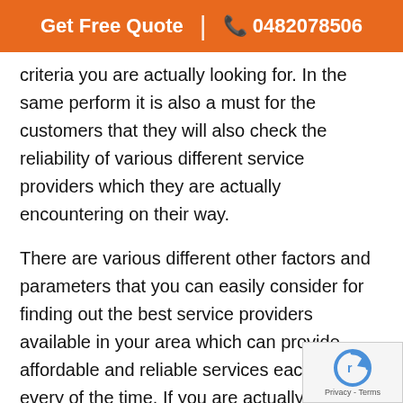Get Free Quote  |  0482078506
criteria you are actually looking for. In the same perform it is also a must for the customers that they will also check the reliability of various different service providers which they are actually encountering on their way.
There are various different other factors and parameters that you can easily consider for finding out the best service providers available in your area which can provide affordable and reliable services each and every of the time. If you are actually going to hire the first company that you have encountered then it may not be the best idea and the smartest thing to do to a large extent. You to analyze the complete situation before com into any verdict.